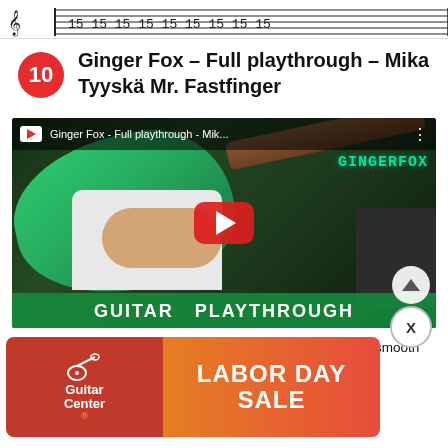[Figure (other): Musical notation strip with guitar tab symbols at the top of the page]
Ginger Fox – Full playthrough – Mika Tyyskä Mr. Fastfinger
[Figure (screenshot): YouTube video thumbnail showing a person playing a green electric guitar. The video title reads 'Ginger Fox - Full playthrough - Mik...' with GINGERFOX branding and a GUITAR PLAYTHROUGH banner at the bottom. A red play button is overlaid in the center.]
[Figure (photo): Guitar Center LABOR DAY SALE advertisement banner overlaid at the bottom of the page]
With deeper exploration, you can really lean in to make it as smooth as possible. Keep shredding!